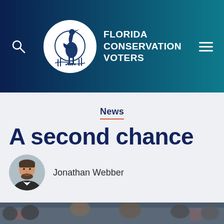FLORIDA CONSERVATION VOTERS
News
A second chance
Jonathan Webber
[Figure (photo): Group of people holding American flags, smiling, bottom banner image]